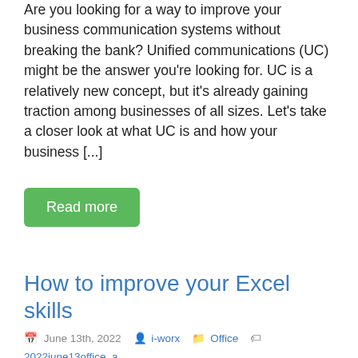Are you looking for a way to improve your business communication systems without breaking the bank? Unified communications (UC) might be the answer you're looking for. UC is a relatively new concept, but it's already gaining traction among businesses of all sizes. Let's take a closer look at what UC is and how your business [...]
Read more
How to improve your Excel skills
June 13th, 2022  i-worx  Office  2022june13office_a, autosum, count, counta, excel, excel ideas, filter, pivot table, sum
[Figure (screenshot): Screenshot of Excel ribbon showing Insert, Page Layout, and Formula tabs on a green background]